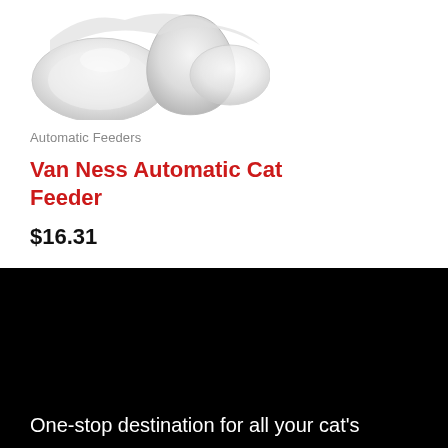[Figure (photo): White ceramic automatic cat feeder bowl, top-down partial view, light gray/white product on white background]
Automatic Feeders
Van Ness Automatic Cat Feeder
$16.31
[Figure (photo): Black background section, dark area]
One-stop destination for all your cat's